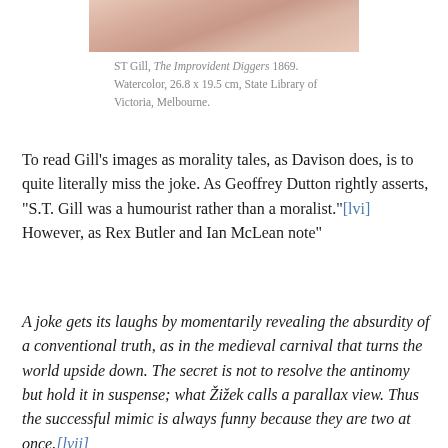[Figure (photo): Cropped bottom portion of a watercolor painting showing figures, pink/flesh tones]
ST Gill, The Improvident Diggers 1869. Watercolor, 26.8 x 19.5 cm, State Library of Victoria, Melbourne.
To read Gill’s images as morality tales, as Davison does, is to quite literally miss the joke. As Geoffrey Dutton rightly asserts, “S.T. Gill was a humourist rather than a moralist.”[lvi] However, as Rex Butler and Ian McLean note”
A joke gets its laughs by momentarily revealing the absurdity of a conventional truth, as in the medieval carnival that turns the world upside down. The secret is not to resolve the antinomy but hold it in suspense; what Žižek calls a parallax view. Thus the successful mimic is always funny because they are two at once.[lvii]